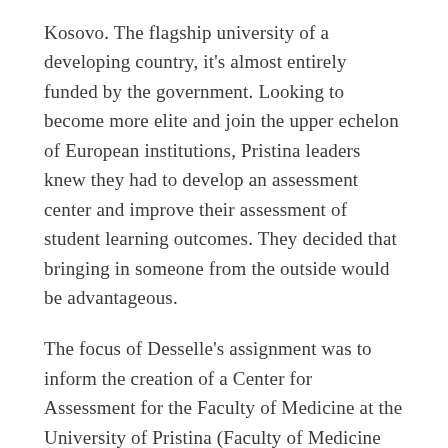Kosovo. The flagship university of a developing country, it's almost entirely funded by the government. Looking to become more elite and join the upper echelon of European institutions, Pristina leaders knew they had to develop an assessment center and improve their assessment of student learning outcomes. They decided that bringing in someone from the outside would be advantageous.
The focus of Desselle's assignment was to inform the creation of a Center for Assessment for the Faculty of Medicine at the University of Pristina (Faculty of Medicine being akin to a College of Medicine that includes the schools of medicine, pharmacy, dentistry and other allied health sciences). Once the Faculty of Medicine got the assessment center up and running, it would serve as a model for other faculty/colleges to do the same. Leadership supported the project, envisioning